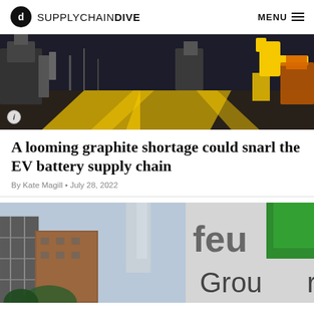SUPPLY CHAIN DIVE  MENU
[Figure (photo): Industrial factory floor with yellow robotic arms and conveyor tracks, automated manufacturing equipment]
A looming graphite shortage could snarl the EV battery supply chain
By Kate Magill • July 28, 2022
[Figure (photo): City street scene with buildings and scaffolding, partially visible FedEx Ground signage in green and white]